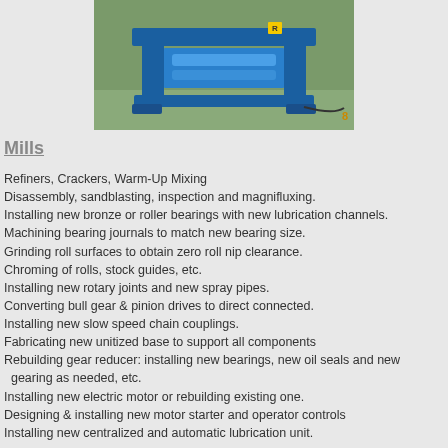[Figure (photo): Blue industrial mill machine on concrete ground outdoors]
Mills
Refiners, Crackers, Warm-Up Mixing
Disassembly, sandblasting, inspection and magnifluxing.
Installing new bronze or roller bearings with new lubrication channels.
Machining bearing journals to match new bearing size.
Grinding roll surfaces to obtain zero roll nip clearance.
Chroming of rolls, stock guides, etc.
Installing new rotary joints and new spray pipes.
Converting bull gear & pinion drives to direct connected.
Installing new slow speed chain couplings.
Fabricating new unitized base to support all components
Rebuilding gear reducer: installing new bearings, new oil seals and new gearing as needed, etc.
Installing new electric motor or rebuilding existing one.
Designing & installing new motor starter and operator controls
Installing new centralized and automatic lubrication unit.